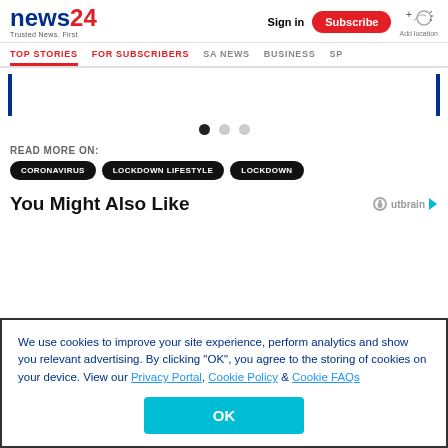[Figure (logo): News24 logo with 'Trusted News. First' tagline]
Sign in
Subscribe
TOP STORIES | FOR SUBSCRIBERS | SA NEWS | BUSINESS | SP...
READ MORE ON:
CORONAVIRUS
LOCKDOWN LIFESTYLE
LOCKDOWN
You Might Also Like
We use cookies to improve your site experience, perform analytics and show you relevant advertising. By clicking "OK", you agree to the storing of cookies on your device. View our Privacy Portal, Cookie Policy & Cookie FAQs
OK